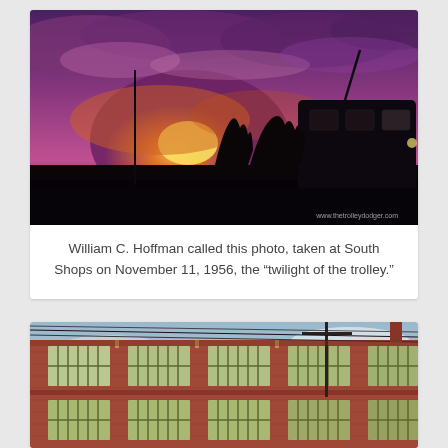[Figure (photo): Silhouette of a trolley car at South Shops at sunset/dusk with dramatic purple and orange clouds in the sky. Watermark reads www.thetrolleydodger.com]
William C. Hoffman called this photo, taken at South Shops on November 11, 1956, the “twilight of the trolley.”
[Figure (photo): Exterior view of a red brick industrial building with large multi-pane windows on two stories, with utility wires visible against a partly cloudy sky.]